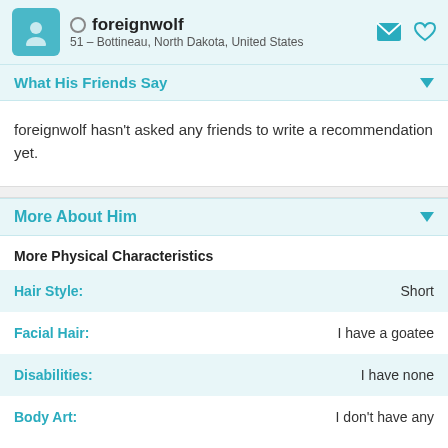foreignwolf · 51 – Bottineau, North Dakota, United States
What His Friends Say
foreignwolf hasn't asked any friends to write a recommendation yet.
More About Him
More Physical Characteristics
| Attribute | Value |
| --- | --- |
| Hair Style: | Short |
| Facial Hair: | I have a goatee |
| Disabilities: | I have none |
| Body Art: | I don't have any |